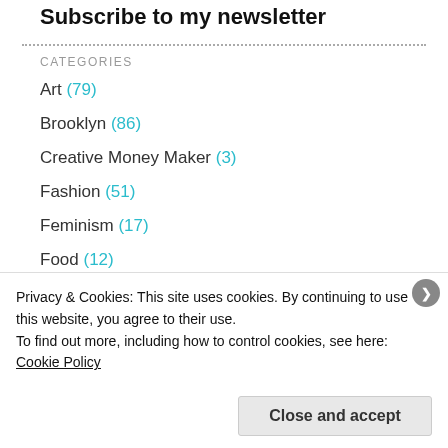Subscribe to my newsletter
CATEGORIES
Art (79)
Brooklyn (86)
Creative Money Maker (3)
Fashion (51)
Feminism (17)
Food (12)
French (40)
Privacy & Cookies: This site uses cookies. By continuing to use this website, you agree to their use.
To find out more, including how to control cookies, see here: Cookie Policy
Close and accept